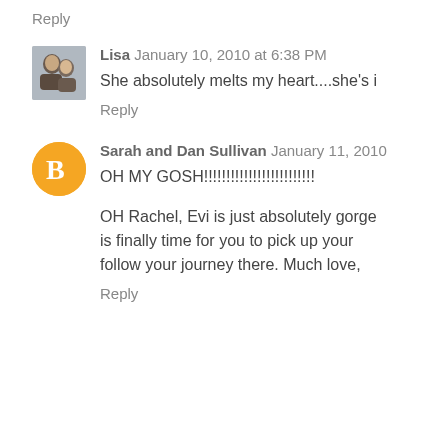Reply
Lisa January 10, 2010 at 6:38 PM
She absolutely melts my heart....she's i
Reply
Sarah and Dan Sullivan January 11, 2010
OH MY GOSH!!!!!!!!!!!!!!!!!!!!!!!!!
OH Rachel, Evi is just absolutely gorge is finally time for you to pick up your follow your journey there. Much love,
Reply